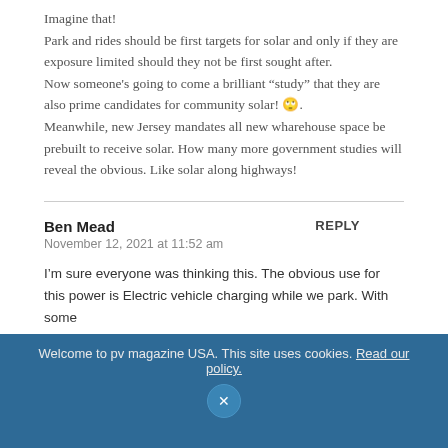Imagine that!
Park and rides should be first targets for solar and only if they are exposure limited should they not be first sought after.
Now someone's going to come a brilliant “study” that they are also prime candidates for community solar! 🙄.
Meanwhile, new Jersey mandates all new wharehouse space be prebuilt to receive solar. How many more government studies will reveal the obvious. Like solar along highways!
Ben Mead
November 12, 2021 at 11:52 am
I’m sure everyone was thinking this. The obvious use for this power is Electric vehicle charging while we park. With some
Welcome to pv magazine USA. This site uses cookies. Read our policy.